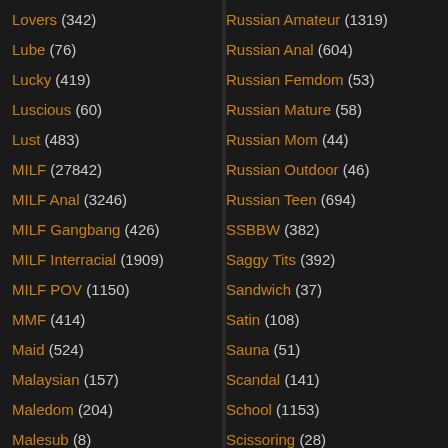Lovers (342)
Lube (76)
Lucky (419)
Luscious (60)
Lust (483)
MILF (27842)
MILF Anal (3246)
MILF Gangbang (426)
MILF Interracial (1909)
MILF POV (1150)
MMF (414)
Maid (524)
Malaysian (157)
Maledom (204)
Malesub (8)
Manga (16)
Russian Amateur (1319)
Russian Anal (604)
Russian Femdom (53)
Russian Mature (58)
Russian Mom (44)
Russian Outdoor (46)
Russian Teen (694)
SSBBW (382)
Saggy Tits (392)
Sandwich (37)
Satin (108)
Sauna (51)
Scandal (141)
School (1153)
Scissoring (28)
Screaming (203)